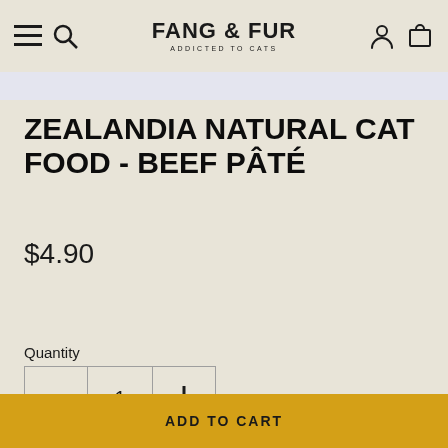FANG & FUR ADDICTED TO CATS
ZEALANDIA NATURAL CAT FOOD - BEEF PÂTÉ
$4.90
Quantity
1
ADD TO CART